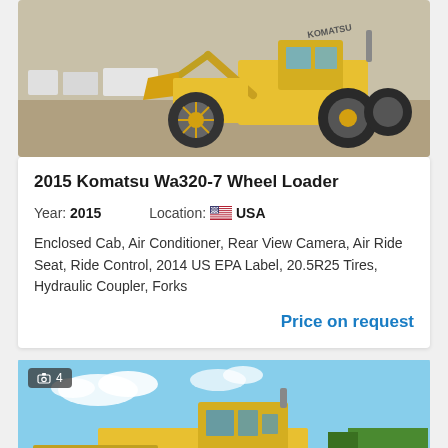[Figure (photo): Yellow Komatsu WA320-7 wheel loader in a yard, shot from front-left angle, Komatsu branding visible on the arm.]
2015 Komatsu Wa320-7 Wheel Loader
Year: 2015   Location: USA
Enclosed Cab, Air Conditioner, Rear View Camera, Air Ride Seat, Ride Control, 2014 US EPA Label, 20.5R25 Tires, Hydraulic Coupler, Forks
Price on request
[Figure (photo): Yellow Komatsu bulldozer/dozer on flat open land with blue sky, photo counter badge showing 4 photos, scroll-to-top FAB button visible at bottom-right.]